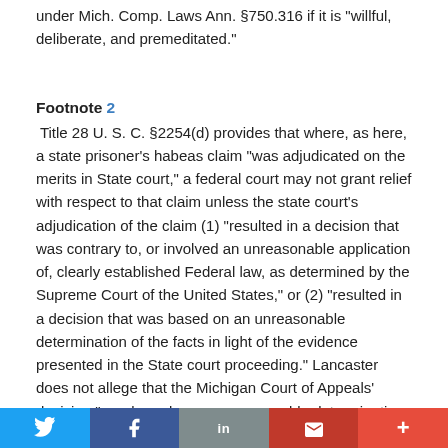under Mich. Comp. Laws Ann. §750.316 if it is "willful, deliberate, and premeditated."
Footnote 2
Title 28 U. S. C. §2254(d) provides that where, as here, a state prisoner's habeas claim "was adjudicated on the merits in State court," a federal court may not grant relief with respect to that claim unless the state court's adjudication of the claim (1) "resulted in a decision that was contrary to, or involved an unreasonable application of, clearly established Federal law, as determined by the Supreme Court of the United States," or (2) "resulted in a decision that was based on an unreasonable determination of the facts in light of the evidence presented in the State court proceeding." Lancaster does not allege that the Michigan Court of Appeals' decision "was based on an unreasonable determination of the facts"
Twitter | Facebook | LinkedIn | Email | +